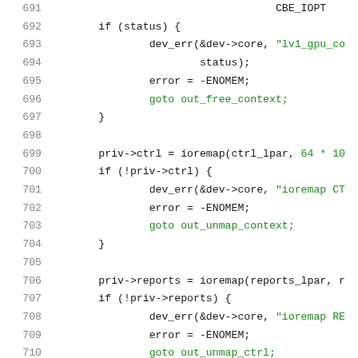[Figure (screenshot): Source code listing showing lines 691-712 of a C program with syntax highlighting. Dark blue for identifiers/keywords, green for string literals, gray for line numbers. Code shows error handling with goto statements, ioremap calls for ctrl and reports memory mapping.]